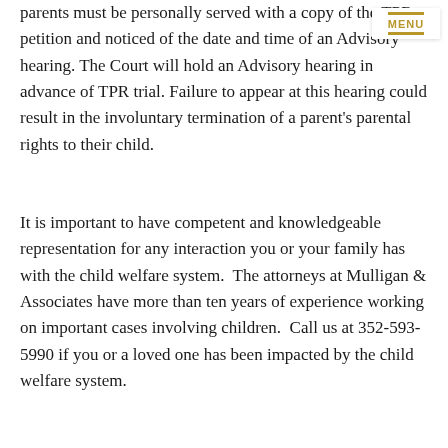parents must be personally served with a copy of the TPR petition and noticed of the date and time of an Advisory hearing. The Court will hold an Advisory hearing in advance of TPR trial. Failure to appear at this hearing could result in the involuntary termination of a parent's parental rights to their child.
It is important to have competent and knowledgeable representation for any interaction you or your family has with the child welfare system.  The attorneys at Mulligan & Associates have more than ten years of experience working on important cases involving children.  Call us at 352-593-5990 if you or a loved one has been impacted by the child welfare system.